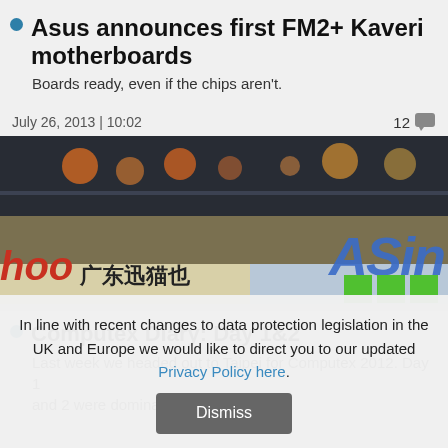Asus announces first FM2+ Kaveri motherboards
Boards ready, even if the chips aren't.
July 26, 2013  |  10:02
[Figure (photo): Photo of a trade show floor with ASin (Asus) branding visible, red 'hoo' text on left, Chinese characters, and green blocks in lower right]
Computex Diary: Day 1&2
Last week we headed out to Taipei for Computex 2012. Day 1 and 2 were dominated by Asus
In line with recent changes to data protection legislation in the UK and Europe we would like to direct you to our updated Privacy Policy here.
Dismiss